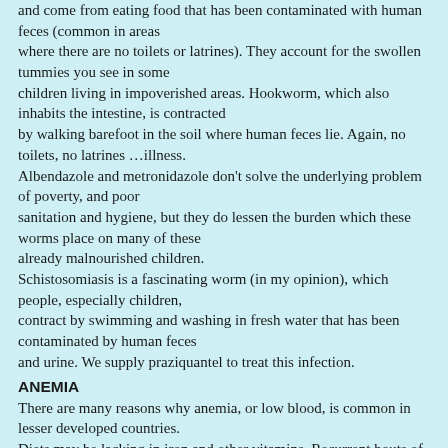and come from eating food that has been contaminated with human feces (common in areas where there are no toilets or latrines). They account for the swollen tummies you see in some children living in impoverished areas. Hookworm, which also inhabits the intestine, is contracted by walking barefoot in the soil where human feces lie. Again, no toilets, no latrines …illness. Albendazole and metronidazole don't solve the underlying problem of poverty, and poor sanitation and hygiene, but they do lessen the burden which these worms place on many of these already malnourished children. Schistosomiasis is a fascinating worm (in my opinion), which people, especially children, contract by swimming and washing in fresh water that has been contaminated by human feces and urine. We supply praziquantel to treat this infection.
ANEMIA
There are many reasons why anemia, or low blood, is common in lesser developed countries. Diets may be lacking in iron and other vitamins. Recurrent bouts of malaria destroy the red blood cells, leading to anemia. Hookworms live in our small intestine and live on our blood. And pregnancy tends to lead to folic acid and iron deficiency. Canadian Feed The Children supplies ferrous sulphate and folic acid to women and children.
VITAMINS
We spend millions on vitamins here. Considering our more than adequate diets, I think we could…